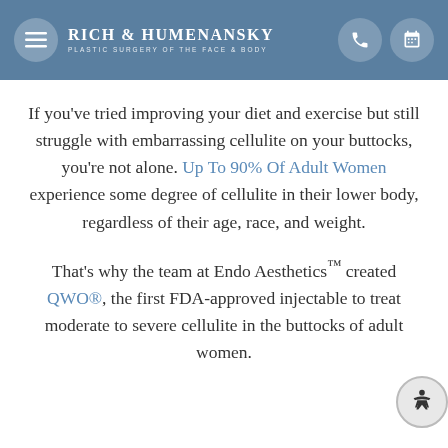Rich & Humenansky — Plastic Surgery of the Face & Body
If you've tried improving your diet and exercise but still struggle with embarrassing cellulite on your buttocks, you're not alone. Up To 90% Of Adult Women experience some degree of cellulite in their lower body, regardless of their age, race, and weight.
That's why the team at Endo Aesthetics™ created QWO®, the first FDA-approved injectable to treat moderate to severe cellulite in the buttocks of adult women.